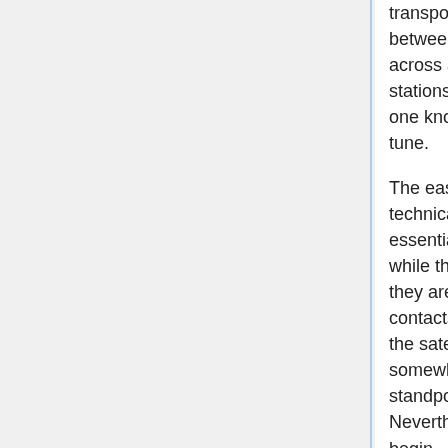transponders in order to allow communication between earth stations using CW or SSB phone across a narrow band of frequencies. Many digital stations can be heard with very simple receivers, if one knows when to listen and on what frequency to tune.
The easiest satellites to communicate through, from a technical standpoint, are the FM satellites. They are essentially single-channel repeaters in space. So while they are relatively easy to hear and to access, they are also very busy, with many stations attempting contacts on the single channel during the short time the satellite is overhead. This can make them somewhat frustrating to work from an operational standpoint, especially on a weekend or holiday. Nevertheless, the FM satellites are a good place to begin.